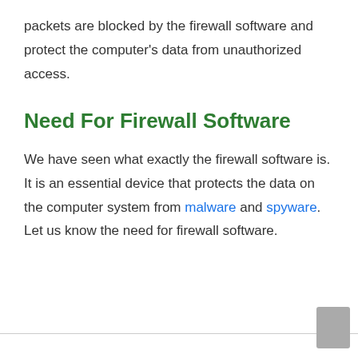packets are blocked by the firewall software and protect the computer's data from unauthorized access.
Need For Firewall Software
We have seen what exactly the firewall software is. It is an essential device that protects the data on the computer system from malware and spyware. Let us know the need for firewall software.